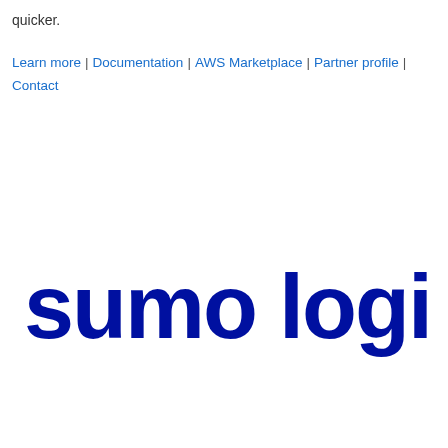quicker.
Learn more | Documentation | AWS Marketplace | Partner profile | Contact
[Figure (logo): Sumo Logic company logo — text 'sumo logic' in large bold dark blue sans-serif font]